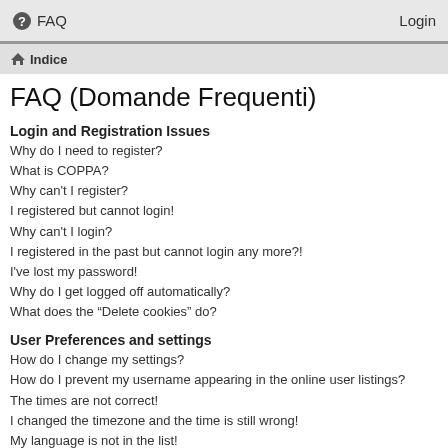FAQ  Login
Indice
FAQ (Domande Frequenti)
Login and Registration Issues
Why do I need to register?
What is COPPA?
Why can't I register?
I registered but cannot login!
Why can't I login?
I registered in the past but cannot login any more?!
I've lost my password!
Why do I get logged off automatically?
What does the “Delete cookies” do?
User Preferences and settings
How do I change my settings?
How do I prevent my username appearing in the online user listings?
The times are not correct!
I changed the timezone and the time is still wrong!
My language is not in the list!
What are the images next to my username?
How do I display an avatar?
What is my rank and how do I change it?